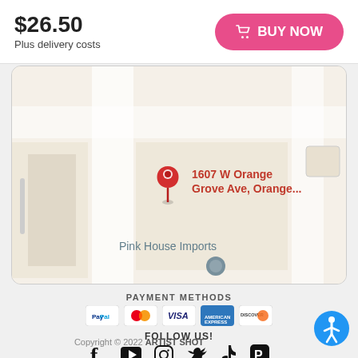$26.50
Plus delivery costs
BUY NOW
[Figure (map): Google Maps view showing a location pin at 1607 W Orange Grove Ave, Orange... with Pink House Imports label below]
PAYMENT METHODS
[Figure (infographic): Payment method logos: PayPal, Mastercard, Visa, American Express, Discover]
FOLLOW US!
[Figure (infographic): Social media icons: Facebook, YouTube, Instagram, Twitter, TikTok, Pinterest]
Copyright © 2022 ARTIST SHOT